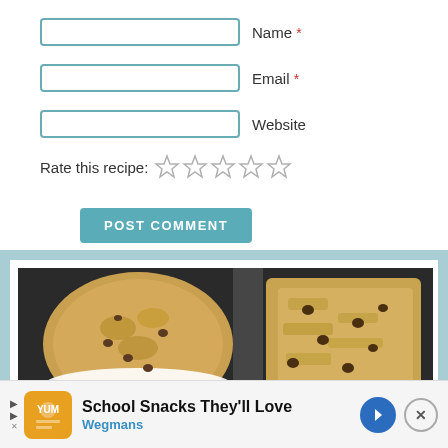Name *
Email *
Website
Rate this recipe: ☆☆☆☆☆
POST COMMENT
[Figure (photo): Food photo showing chocolate chip oat bars/cookies on a dark tray, one in a white paper cup liner on the left, a square bar on the right]
School Snacks They'll Love
Wegmans